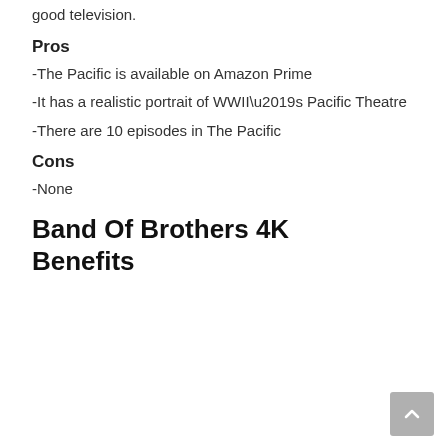good television.
Pros
-The Pacific is available on Amazon Prime
-It has a realistic portrait of WWII’s Pacific Theatre
-There are 10 episodes in The Pacific
Cons
-None
Band Of Brothers 4K Benefits